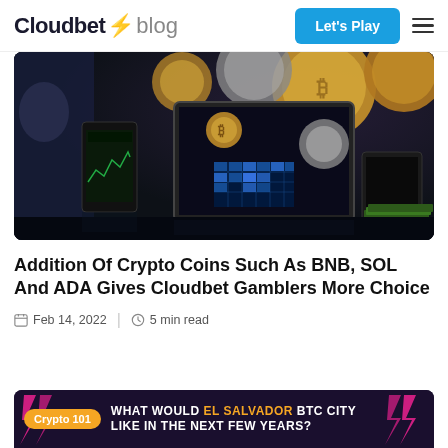Cloudbet blog
[Figure (photo): Person with crypto coins in background, laptop and tablet on dark table showing crypto trading data]
Addition Of Crypto Coins Such As BNB, SOL And ADA Gives Cloudbet Gamblers More Choice
Feb 14, 2022 | 5 min read
[Figure (infographic): Banner: WHAT WOULD EL SALVADOR BTC CITY LIKE IN THE NEXT FEW YEARS? with Crypto 101 badge]